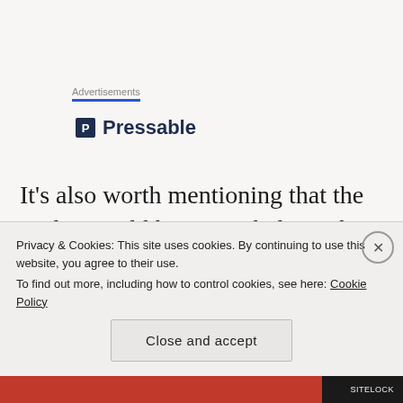Advertisements
[Figure (logo): Pressable logo with blue P icon and bold text]
It’s also worth mentioning that the trailer would have you believe that the killer has the mind of a child, because disassembling the bodies is “what a child would do”, but
Privacy & Cookies: This site uses cookies. By continuing to use this website, you agree to their use. To find out more, including how to control cookies, see here: Cookie Policy
Close and accept